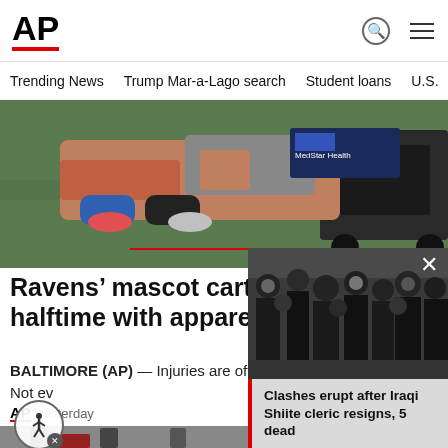AP
Trending News   Trump Mar-a-Lago search   Student loans   U.S.
[Figure (photo): A person being carted off on a medical cart on a football field, legs visible, MedStar Health sign in background]
Ravens' mascot carted off at halftime with apparent injury
BALTIMORE (AP) — Injuries are often the most significant news from the NFL's preseason. Not ev
[Figure (photo): Street scene with people in black clothing]
[Figure (photo): Overlay popup showing crowd of people dressed in black. Caption: Clashes erupt after Iraqi Shiite cleric resigns, 5 dead]